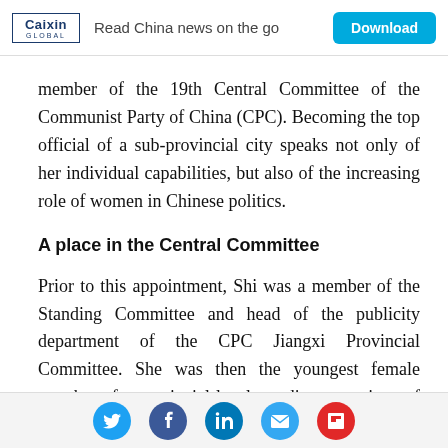Caixin Global — Read China news on the go — Download
member of the 19th Central Committee of the Communist Party of China (CPC). Becoming the top official of a sub-provincial city speaks not only of her individual capabilities, but also of the increasing role of women in Chinese politics.
A place in the Central Committee
Prior to this appointment, Shi was a member of the Standing Committee and head of the publicity department of the CPC Jiangxi Provincial Committee. She was then the youngest female member of a provincial-level standing committee of the CPC in the country.
Social share icons: Twitter, Facebook, LinkedIn, Email, Flipboard